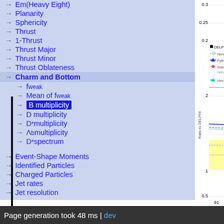→ Em(Heavy Eight)
→ Planarity
→ Sphericity
→ Thrust
→ 1-Thrust
→ Thrust Major
→ Thrust Minor
→ Thrust Oblateness
→ Charm and Bottom
→ f_weak
→ Mean of f_weak
→ B multiplicity (highlighted)
→ D multiplicity
→ D* multiplicity
→ Λb multiplicity
→ D* spectrum
→ Event-Shape Moments
→ Identified Particles
→ Charged Particles
→ Jet rates
→ Jet resolution
[Figure (continuous-plot): Partial view of a ratio plot showing ratio to DELPHI on y-axis (range 0.5 to 2) and x-axis value around 91. Legend shows DELPHI (black square), Herwig 7 Def (green dashed), Pythia 8 Def (blue solid), Sherpa Def (red dotted), Vincia Def (cyan dashed). Yellow band around ratio=1. Upper panel shows values 0.15 to 0.3.]
Page generation took 48 ms | dev